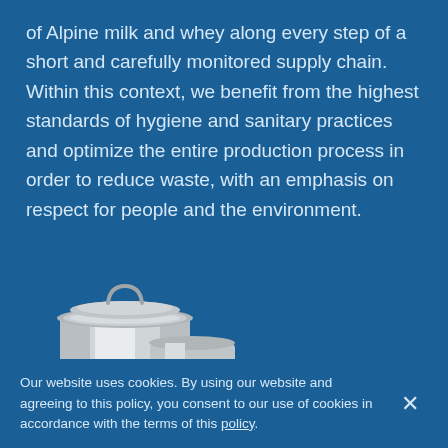of Alpine milk and whey along every step of a short and carefully monitored supply chain. Within this context, we benefit from the highest standards of hygiene and sanitary practices and optimize the entire production process in order to reduce waste, with an emphasis on respect for people and the environment.
[Figure (photo): A metal milk can with a handle and lid, photographed against a blue background, positioned in the lower-left area of the page.]
Our website uses cookies. By using our website and agreeing to this policy, you consent to our use of cookies in accordance with the terms of this policy.